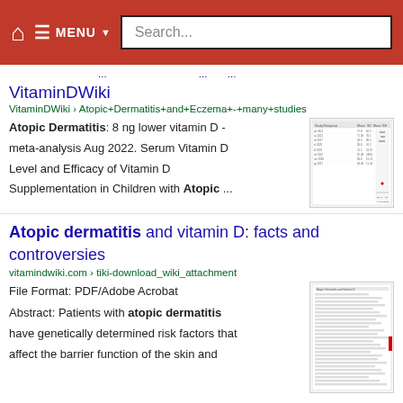Navigation bar with home icon, MENU, and Search... input
VitaminDWiki
VitaminDWiki › Atopic+Dermatitis+and+Eczema+-+many+studies
Atopic Dermatitis: 8 ng lower vitamin D - meta-analysis Aug 2022. Serum Vitamin D Level and Efficacy of Vitamin D Supplementation in Children with Atopic ...
[Figure (screenshot): Thumbnail of a forest plot table showing meta-analysis data for vitamin D and atopic dermatitis]
Atopic dermatitis and vitamin D: facts and controversies
vitamindwiki.com › tiki-download_wiki_attachment
File Format: PDF/Adobe Acrobat
Abstract: Patients with atopic dermatitis have genetically determined risk factors that affect the barrier function of the skin and
[Figure (screenshot): Thumbnail of a PDF document page about atopic dermatitis and vitamin D]